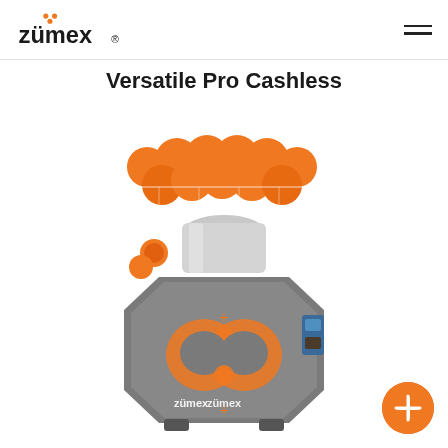zümex [logo] [hamburger menu]
Versatile Pro Cashless
[Figure (photo): Zumex Versatile Pro Cashless commercial orange juicer machine with a wire basket tray loaded with oranges on top, silver and gray body with orange decorative accents, and a Zumex logo on the front body panel.]
[Figure (other): Orange circular FAB button with a white plus sign in the bottom-right corner of the page.]